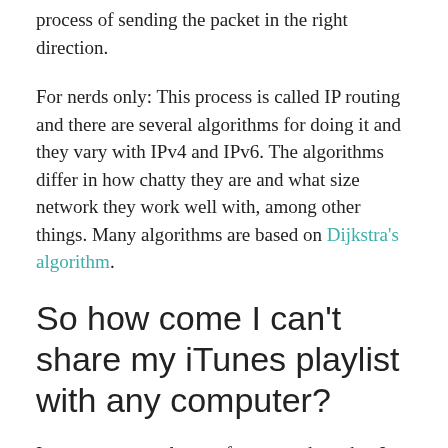process of sending the packet in the right direction.
For nerds only: This process is called IP routing and there are several algorithms for doing it and they vary with IPv4 and IPv6. The algorithms differ in how chatty they are and what size network they work well with, among other things. Many algorithms are based on Dijkstra's algorithm.
So how come I can't share my iTunes playlist with any computer?
I can access google.com from anywhere, but I can't access that laptop from the other coffee shop. The reason for that is that there are many